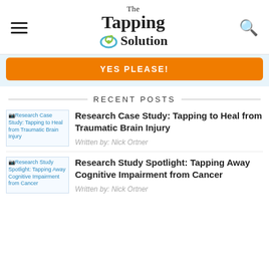The Tapping Solution
[Figure (logo): The Tapping Solution logo with swirl graphic, hamburger menu icon on left, search icon on right]
YES Please! (orange CTA button)
RECENT POSTS
[Figure (photo): Thumbnail image for Research Case Study: Tapping to Heal from Traumatic Brain Injury]
Research Case Study: Tapping to Heal from Traumatic Brain Injury
Written by: Nick Ortner
[Figure (photo): Thumbnail image for Research Study Spotlight: Tapping Away Cognitive Impairment from Cancer]
Research Study Spotlight: Tapping Away Cognitive Impairment from Cancer
Written by: Nick Ortner